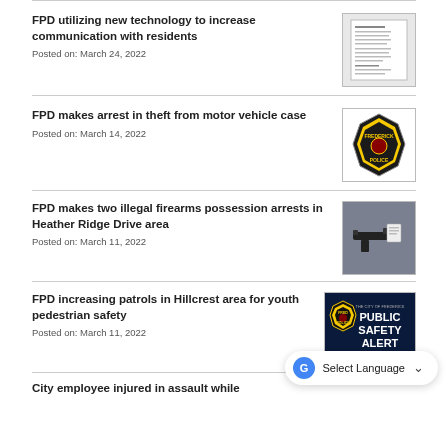FPD utilizing new technology to increase communication with residents
Posted on: March 24, 2022
[Figure (photo): A document/letter image thumbnail]
FPD makes arrest in theft from motor vehicle case
Posted on: March 14, 2022
[Figure (logo): Frederick Police badge logo, black and yellow]
FPD makes two illegal firearms possession arrests in Heather Ridge Drive area
Posted on: March 11, 2022
[Figure (photo): Photo of a firearm on a surface]
FPD increasing patrols in Hillcrest area for youth pedestrian safety
Posted on: March 11, 2022
[Figure (photo): Frederick Police Public Safety Alert banner]
City employee injured in assault while